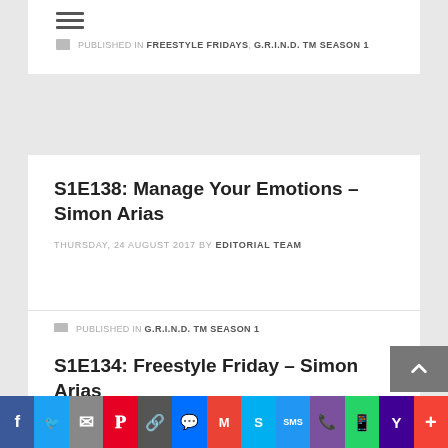[Figure (other): Hamburger menu icon (three horizontal lines)]
PUBLISHED IN FREESTYLE FRIDAYS, G.R.I.N.D. TM SEASON 1
S1E138: Manage Your Emotions – Simon Arias
THURSDAY, 24 AUGUST 2017 BY EDITORIAL TEAM
PUBLISHED IN G.R.I.N.D. TM SEASON 1
S1E134: Freestyle Friday – Simon Arias
[Figure (other): Social sharing bar with Facebook, Twitter, Mail, Pinterest, Copy Link, Messenger, Gmail, Skype, SMS, Viber, WhatsApp, Yahoo, More buttons]